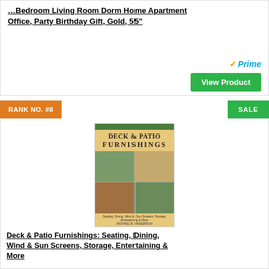Decoration and Accessories for Nursery, Bedroom Living Room Dorm Home Apartment Office, Party Birthday Gift, Gold, 55"
[Figure (other): Amazon Prime logo and View Product button]
RANK NO. #8
SALE
[Figure (photo): Book cover: Deck & Patio Furnishings by Michael B. Anderson, showing outdoor furniture photos]
Deck & Patio Furnishings: Seating, Dining, Wind & Sun Screens, Storage, Entertaining & More